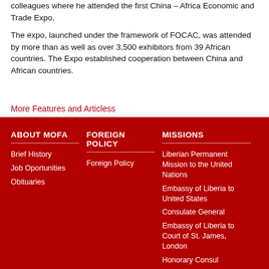colleagues where he attended the first China – Africa Economic and Trade Expo,
The expo, launched under the framework of FOCAC, was attended by more than as well as over 3,500 exhibitors from 39 African countries. The Expo established cooperation between China and African countries.
More Features and Articless
ABOUT MOFA
Brief History
Job Oportunities
Obituaries
FOREIGN POLICY
Foreign Policy
MISSIONS
Liberian Permanent Mission to the United Nations
Embassy of Liberia to United States
Consulate General
Embassy of Liberia to Court of St. James, London
Honorary Consul
Embassy of the Liberia Japan
Liberia Embassy Gha...